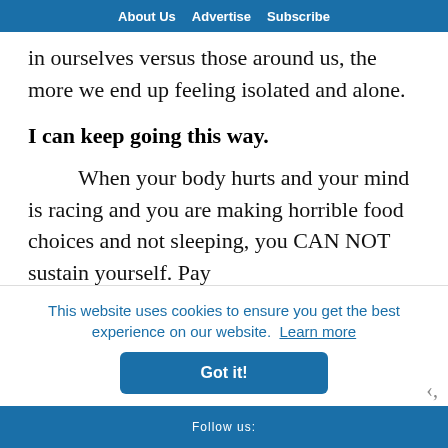About Us   Advertise   Subscribe
in ourselves versus those around us, the more we end up feeling isolated and alone.
I can keep going this way.
When your body hurts and your mind is racing and you are making horrible food choices and not sleeping, you CAN NOT sustain yourself. Pay
This website uses cookies to ensure you get the best experience on our website. Learn more
Got it!
Follow us: